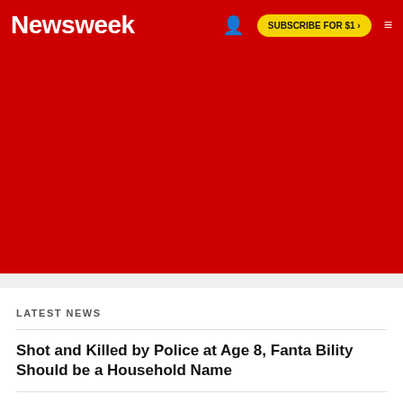Newsweek | SUBSCRIBE FOR $1 >
[Figure (other): Red advertisement banner area]
LATEST NEWS
Shot and Killed by Police at Age 8, Fanta Bility Should be a Household Name
Divorced Dad, 43, Dating Teen Barely Older Than His Kids